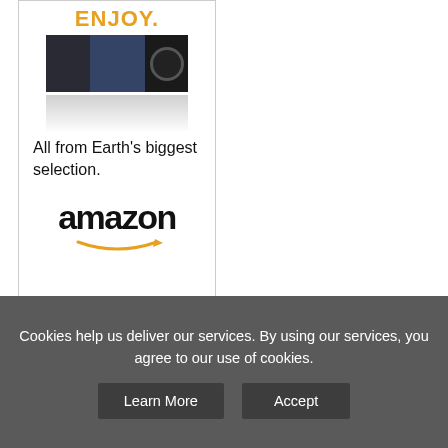[Figure (illustration): Amazon advertisement banner showing 'ENJOY.' text in orange, movie cover images, 'All from Earth's biggest selection.' tagline, Amazon logo with arrow, and Privacy link at bottom]
[Figure (other): Second advertisement box, partially visible at bottom of page]
Cookies help us deliver our services. By using our services, you agree to our use of cookies.
Learn More
Accept